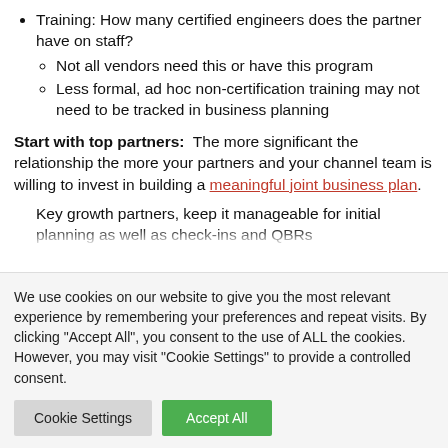Training: How many certified engineers does the partner have on staff?
  - Not all vendors need this or have this program
  - Less formal, ad hoc non-certification training may not need to be tracked in business planning
Start with top partners: The more significant the relationship the more your partners and your channel team is willing to invest in building a meaningful joint business plan.
Key growth partners, keep it manageable for initial planning as well as check-ins and QBRs
We use cookies on our website to give you the most relevant experience by remembering your preferences and repeat visits. By clicking "Accept All", you consent to the use of ALL the cookies. However, you may visit "Cookie Settings" to provide a controlled consent.